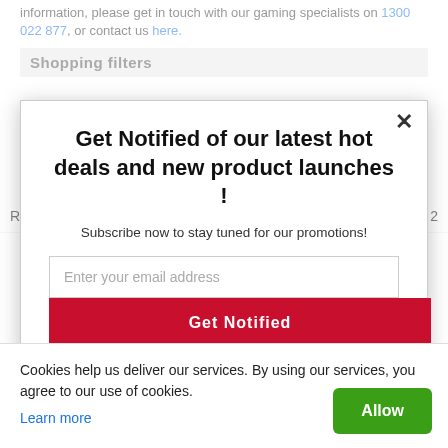information, please get in touch with our gaming specialists on 1300 022 877, or contact us here.
Shopping filters
Get Notified of our latest hot deals and new product launches !
Subscribe now to stay tuned for our promotions!
Enter your email address
Get Notified
Happy shopping!
Roccat  2
Cookies help us deliver our services. By using our services, you agree to our use of cookies.
Learn more
Allow